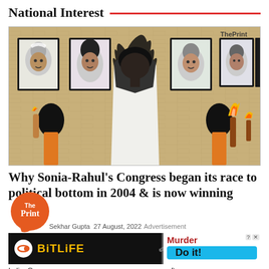National Interest
[Figure (illustration): Illustrated artwork showing a figure in white viewed from behind, looking at framed black-and-white portraits of Indian political leaders on a wall. Figures holding torches visible on sides. ThePrint watermark in top-right.]
Why Sonia-Rahul's Congress began its race to political bottom in 2004 & is now winning
[Figure (logo): The Print circular orange logo with speech bubble]
Sekhar Gupta  27 August, 2022  Advertisement
[Figure (screenshot): BitLife advertisement banner with Murder / Do it! call to action]
Indira G                                                                                fter realising                                                                    mohan stayed the course. Sonia & Rahul reversed it, became...